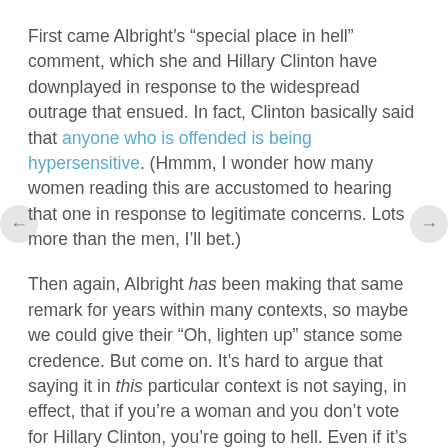First came Albright's “special place in hell” comment, which she and Hillary Clinton have downplayed in response to the widespread outrage that ensued. In fact, Clinton basically said that anyone who is offended is being hypersensitive. (Hmmm, I wonder how many women reading this are accustomed to hearing that one in response to legitimate concerns. Lots more than the men, I’ll bet.)
Then again, Albright has been making that same remark for years within many contexts, so maybe we could give their “Oh, lighten up” stance some credence. But come on. It’s hard to argue that saying it in this particular context is not saying, in effect, that if you’re a woman and you don’t vote for Hillary Clinton, you’re going to hell. Even if it’s a joke, it’s a bad one.
Then, oh my goodness, Gloria. Young women who are